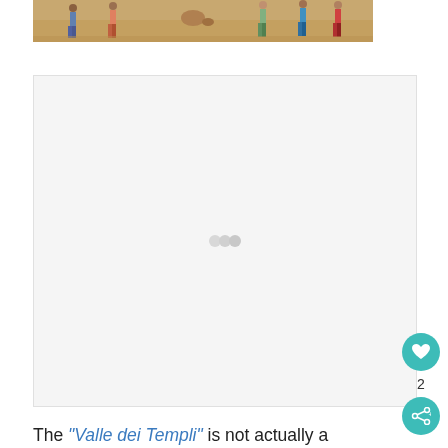[Figure (photo): Bottom portion of a photo showing tourists/people walking on sandy ground, appears to be an archaeological site]
[Figure (other): Advertisement placeholder box, light gray background, mostly blank]
The "Valle dei Templi" is not actually a